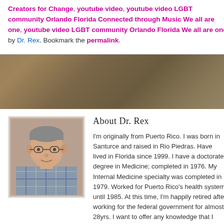Creators for Change, youtube video, youtube video LGBT community Orlando Florida Connected through Music We all are one, youtube video LGBT community Orlando Florida We all are one by Dr. Rex. Bookmark the permalink.
[Figure (photo): Portrait photo of Dr. Rex, a person with short hair and glasses, wearing a plaid shirt]
About Dr. Rex
I'm originally from Puerto Rico. I was born in Santurce and raised in Rio Piedras. Have lived in Florida since 1999. I have a doctorate degree in Medicine; completed in 1976. My Internal Medicine specialty was completed in 1979. Worked for Puerto Rico's health system until 1985. At this time, I'm happily retired after working for the federal government for almost 28yrs. I want to offer any knowledge that I have to anyone "out there" who is interested. My views are liberal in almost every sense. My knowledge is "eclectic" - a bit of everything. Music and reading are my passion. Blogging has also become a very interesting endeavor. Metaphysical topics attract me. I'm interested in news reporting